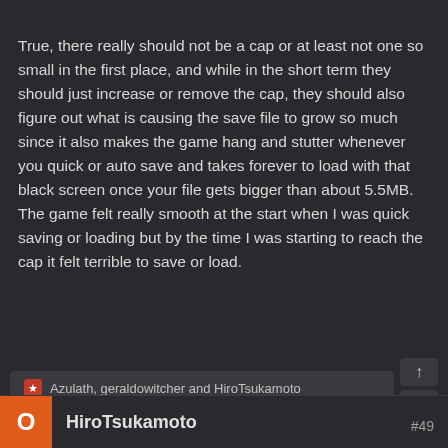True, there really should not be a cap or at least not one so small in the first place, and while in the short term they should just increase or remove the cap, they should also figure out what is causing the save file to grow so much since it also makes the game hang and stutter whenever you quick or auto save and takes forever to load with that black screen once your file gets bigger than about 5.5MB. The game felt really smooth at the start when I was quick saving or loading but by the time I was starting to reach the cap it felt terrible to save or load.
Azulath, geraldowitcher and HiroTsukamoto
HiroTsukamoto
#49